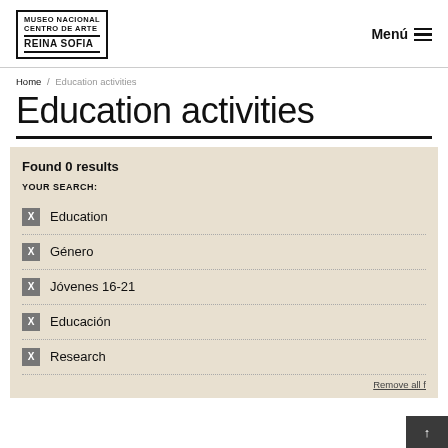[Figure (logo): Museo Nacional Centro de Arte Reina Sofia logo with bordered box]
Menú ☰
Home / Education activities
Education activities
Found 0 results
YOUR SEARCH:
✕ Education
✕ Género
✕ Jóvenes 16-21
✕ Educación
✕ Research
Remove all ↑